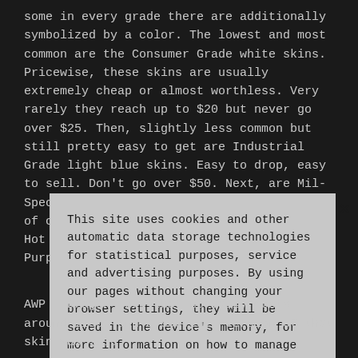some in every grade there are additionally symbolized by a color. The lowest and most common are the Consumer Grade white skins. Pricewise, these skins are usually extremely cheap or almost worthless. Very rarely they reach up to $20 but never go over $25. Then, slightly less common but still pretty easy to get are Industrial Grade light blue skins. Easy to drop, easy to sell. Don't go over $50. Next, are Mil-Spec blue skins. These are a bit rarer and, of course, much more expensive. An AUG | Hot Rod Factory New can be sold for $125. Purple Restricted CSGO skins are...
This site uses cookies and other automatic data storage technologies for statistical purposes, service and advertising purposes. By using our pages without changing your browser settings, they will be saved in the device's memory, for more information on how to manage cookies, see the Privacy Policy and Terms and Conditions.
AWP | Dragon Lore that normally costs around $1500 and a souvenir version of that skin was sold